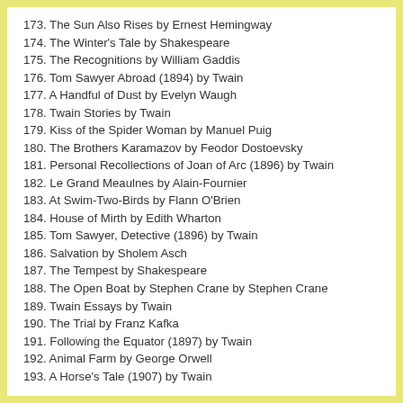173. The Sun Also Rises by Ernest Hemingway
174. The Winter's Tale by Shakespeare
175. The Recognitions by William Gaddis
176. Tom Sawyer Abroad (1894) by Twain
177. A Handful of Dust by Evelyn Waugh
178. Twain Stories by Twain
179. Kiss of the Spider Woman by Manuel Puig
180. The Brothers Karamazov by Feodor Dostoevsky
181. Personal Recollections of Joan of Arc (1896) by Twain
182. Le Grand Meaulnes by Alain-Fournier
183. At Swim-Two-Birds by Flann O'Brien
184. House of Mirth by Edith Wharton
185. Tom Sawyer, Detective (1896) by Twain
186. Salvation by Sholem Asch
187. The Tempest by Shakespeare
188. The Open Boat by Stephen Crane by Stephen Crane
189. Twain Essays by Twain
190. The Trial by Franz Kafka
191. Following the Equator (1897) by Twain
192. Animal Farm by George Orwell
193. A Horse's Tale (1907) by Twain